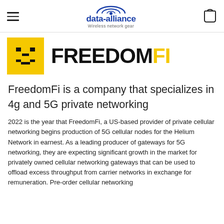data-alliance Wireless network gear
[Figure (logo): FreedomFi logo: yellow square with pixelated smiley face and bold FREEDOMFI text with FI in yellow]
FreedomFi is a company that specializes in 4g and 5G private networking
2022 is the year that FreedomFi, a US-based provider of private cellular networking begins production of 5G cellular nodes for the Helium Network in earnest. As a leading producer of gateways for 5G networking, they are expecting significant growth in the market for privately owned cellular networking gateways that can be used to offload excess throughput from carrier networks in exchange for remuneration. Pre-order cellular networking